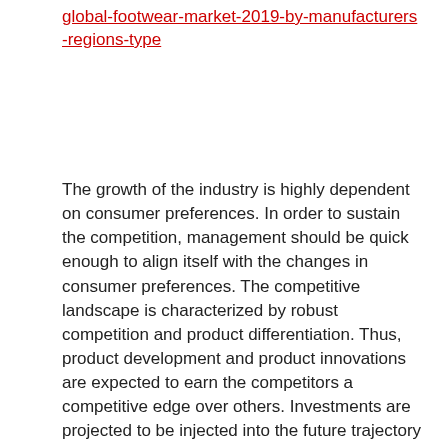global-footwear-market-2019-by-manufacturers-regions-type
The growth of the industry is highly dependent on consumer preferences. In order to sustain the competition, management should be quick enough to align itself with the changes in consumer preferences. The competitive landscape is characterized by robust competition and product differentiation. Thus, product development and product innovations are expected to earn the competitors a competitive edge over others. Investments are projected to be injected into the future trajectory for marketing strategies such as attractive packaging, advertising, etc. It is projected to catalyze the pace of growth of the industry over the next couple of years. In addition, the industry is also expected to witness an influx of new entrants. The survival of these entrants depends on factors such as price sensitivity, quality